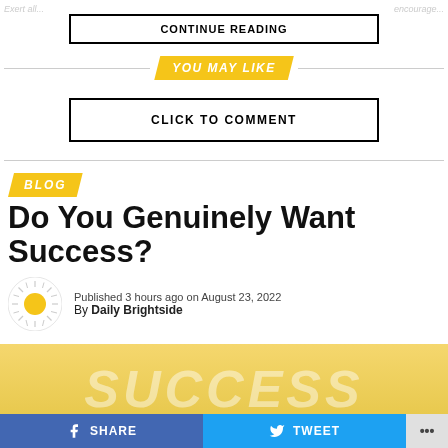CONTINUE READING
YOU MAY LIKE
CLICK TO COMMENT
BLOG
Do You Genuinely Want Success?
Published 3 hours ago on August 23, 2022
By Daily Brightside
[Figure (illustration): Yellow gradient hero image background with large faded italic text reading SUCCESS]
SHARE  TWEET  ...